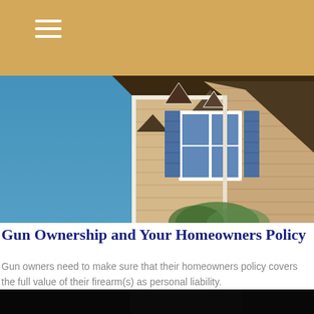[Figure (photo): Exterior view of a house with blue shutters and wooden siding, photographed from below against a blue sky]
Gun Ownership and Your Homeowners Policy
Gun owners need to make sure that their homeowners policy covers the full value of their firearm(s) as personal liability.
[Figure (photo): Dark image of hands holding a smartphone displaying text that reads 'What Are Yo...' on a teal/blue screen]